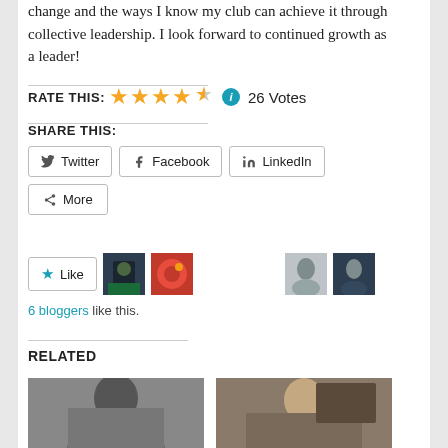change and the ways I know my club can achieve it through collective leadership. I look forward to continued growth as a leader!
RATE THIS: ★★★★½ ℹ 26 Votes
SHARE THIS:
Twitter Facebook LinkedIn More
Like
6 bloggers like this.
RELATED